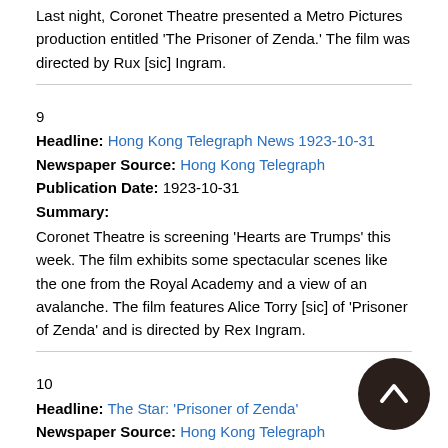Last night, Coronet Theatre presented a Metro Pictures production entitled 'The Prisoner of Zenda.' The film was directed by Rux [sic] Ingram.
9
Headline: Hong Kong Telegraph News 1923-10-31
Newspaper Source: Hong Kong Telegraph
Publication Date: 1923-10-31
Summary:
Coronet Theatre is screening 'Hearts are Trumps' this week. The film exhibits some spectacular scenes like the one from the Royal Academy and a view of an avalanche. The film features Alice Torry [sic] of 'Prisoner of Zenda' and is directed by Rex Ingram.
10
Headline: The Star: 'Prisoner of Zenda'
Newspaper Source: Hong Kong Telegraph
Publication Date: 1923-11-19
Summary:
Today and tomorrow, Star Theatre will be screening the screen version of Anthony Hope's novel 'Prisoner of Zenda.' The Rex